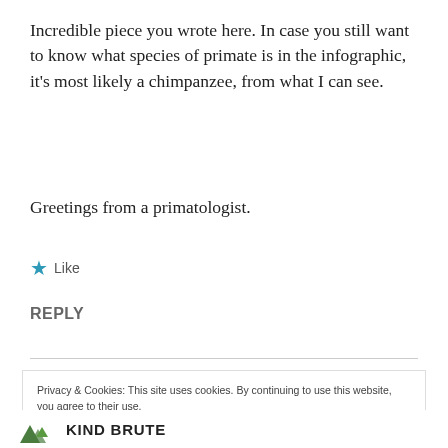Incredible piece you wrote here. In case you still want to know what species of primate is in the infographic, it's most likely a chimpanzee, from what I can see.
Greetings from a primatologist.
★ Like
REPLY
Privacy & Cookies: This site uses cookies. By continuing to use this website, you agree to their use. To find out more, including how to control cookies, see here: Cookie Policy
Close and accept
KIND BRUTE